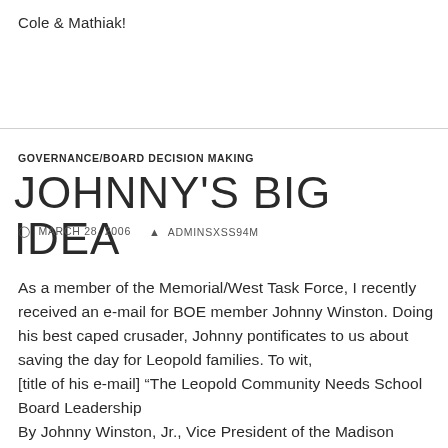Cole & Mathiak!
GOVERNANCE/BOARD DECISION MAKING
JOHNNY'S BIG IDEA
MARCH 28, 2006   ADMINSXSS94M
As a member of the Memorial/West Task Force, I recently received an e-mail for BOE member Johnny Winston. Doing his best caped crusader, Johnny pontificates to us about saving the day for Leopold families. To wit, [title of his e-mail] “The Leopold Community Needs School Board Leadership By Johnny Winston, Jr., Vice President of the Madison School